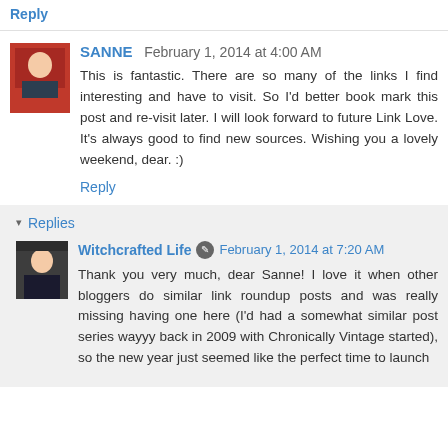Reply
SANNE  February 1, 2014 at 4:00 AM
This is fantastic. There are so many of the links I find interesting and have to visit. So I'd better book mark this post and re-visit later. I will look forward to future Link Love. It's always good to find new sources. Wishing you a lovely weekend, dear. :)
Reply
Replies
Witchcrafted Life  February 1, 2014 at 7:20 AM
Thank you very much, dear Sanne! I love it when other bloggers do similar link roundup posts and was really missing having one here (I'd had a somewhat similar post series wayyy back in 2009 with Chronically Vintage started), so the new year just seemed like the perfect time to launch